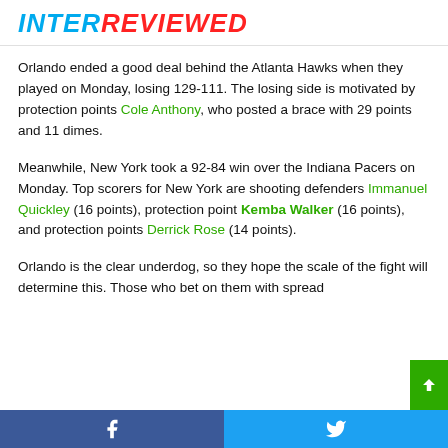INTERREVIEWED
Orlando ended a good deal behind the Atlanta Hawks when they played on Monday, losing 129-111. The losing side is motivated by protection points Cole Anthony, who posted a brace with 29 points and 11 dimes.
Meanwhile, New York took a 92-84 win over the Indiana Pacers on Monday. Top scorers for New York are shooting defenders Immanuel Quickley (16 points), protection point Kemba Walker (16 points), and protection points Derrick Rose (14 points).
Orlando is the clear underdog, so they hope the scale of the fight will determine this. Those who bet on them with spread
Facebook share | Twitter share